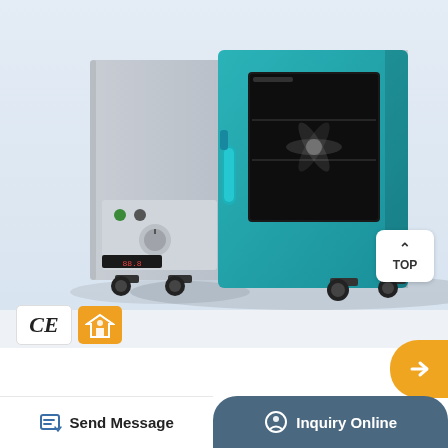[Figure (photo): Teal/blue laboratory drying oven with open door showing interior shelves and fan, mounted on black caster wheels, with gray control panel on the left side showing knobs and a digital display]
WLH60 High Temperature LED Strip Light
Jslinter 40 watt Appliance Oven Light Bulb - High Temp - 120v Clear - 415 Lumens - Medium Brass Base - G45 4-Pack. . Oven Light Bulbs - 40 Watt Appliance Replac
Send Message
Inquiry Online